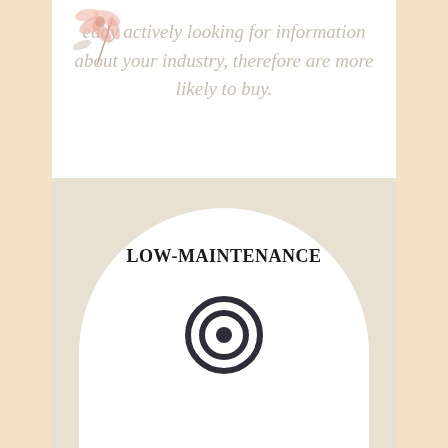already actively looking for information about your industry, therefore are more likely to buy.
[Figure (illustration): Decorative floral illustration (pink bow/flower) in top-left corner of white card]
LOW-MAINTENANCE
[Figure (illustration): Concentric circles target/bullseye icon in dark charcoal color]